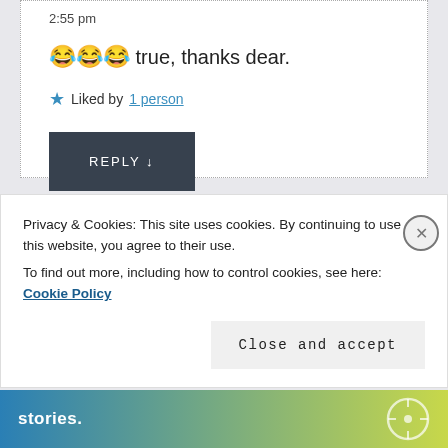2:55 pm
😂😂😂 true, thanks dear.
★ Liked by 1 person
REPLY ↓
Privacy & Cookies: This site uses cookies. By continuing to use this website, you agree to their use. To find out more, including how to control cookies, see here: Cookie Policy
Close and accept
stories.